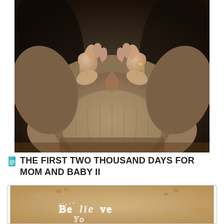[Figure (photo): Close-up photograph of a pregnant woman in a beige/taupe sweater forming a heart shape with her hands on her baby bump. She is wearing a ring on her right hand. The image has a warm, intimate tone with soft lighting and a dark background.]
THE FIRST TWO THOUSAND DAYS FOR MOM AND BABY II
[Figure (photo): Photograph of sandy beach with the words 'Believe' written in the sand with small white stones or shells. The text is partially visible with 'Be...lie...ve' and additional word below.]